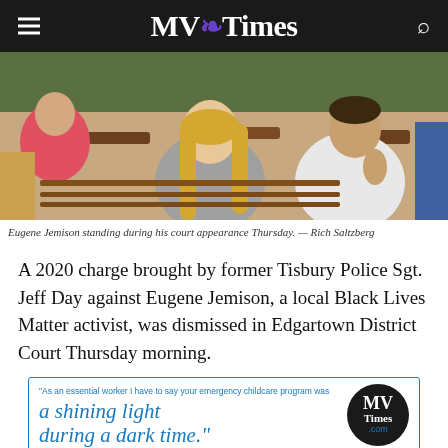MV Times
[Figure (photo): Photo of people seated on wooden benches inside a courtroom. A woman with long blonde hair wearing a gray off-shoulder top is visible in the center. A man in a white shirt is seated to the right. A person in pink is visible at left.]
Eugene Jemison standing during his court appearance Thursday. — Rich Saltzberg
A 2020 charge brought by former Tisbury Police Sgt. Jeff Day against Eugene Jemison, a local Black Lives Matter activist, was dismissed in Edgartown District Court Thursday morning.
[Figure (advertisement): MV Times advertisement with text: "As an essential worker I have to say your emergency childcare program was a shining light during a dark time." with MV Times logo circle on the right.]